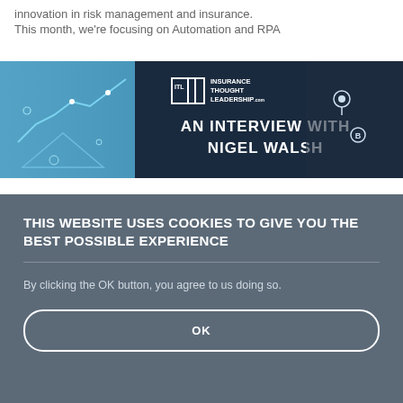innovation in risk management and insurance.
This month, we're focusing on Automation and RPA
[Figure (screenshot): Insurance Thought Leadership website banner showing 'AN INTERVIEW WITH NIGEL WALSH' on a dark blue background with ITL logo, overlaid by a cookie consent dialog]
THIS WEBSITE USES COOKIES TO GIVE YOU THE BEST POSSIBLE EXPERIENCE
By clicking the OK button, you agree to us doing so.
OK